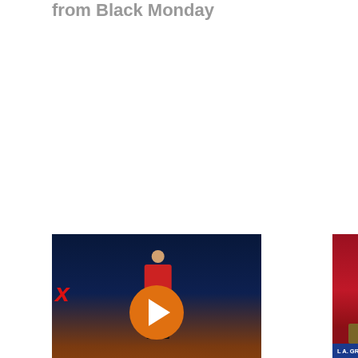from Black Monday
[Figure (screenshot): Video thumbnail showing a woman in a red jacket on a dark stage with TEDx branding and an orange play button overlay]
Lessons from history's biggest Ponzi scheme |
[Figure (screenshot): Video thumbnail showing Diana B. Henriques in a blue jacket at a podium with a sign reading 'L A. GROSCH LECTUR / NA B. HENRIQU / RNALIST & AUTHOR / YORK TIMES' and an orange play button overlay]
LMU Business: Diana B. Henriques - What We Should